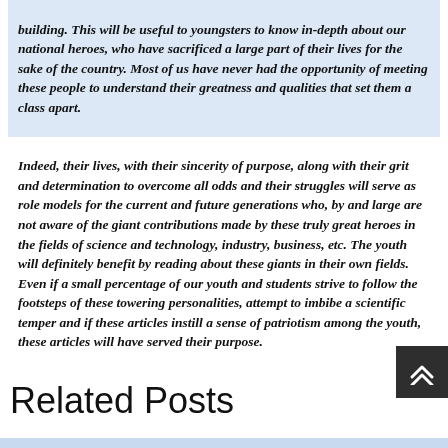building. This will be useful to youngsters to know in-depth about our national heroes, who have sacrificed a large part of their lives for the sake of the country. Most of us have never had the opportunity of meeting these people to understand their greatness and qualities that set them a class apart.
Indeed, their lives, with their sincerity of purpose, along with their grit and determination to overcome all odds and their struggles will serve as role models for the current and future generations who, by and large are not aware of the giant contributions made by these truly great heroes in the fields of science and technology, industry, business, etc. The youth will definitely benefit by reading about these giants in their own fields. Even if a small percentage of our youth and students strive to follow the footsteps of these towering personalities, attempt to imbibe a scientific temper and if these articles instill a sense of patriotism among the youth, these articles will have served their purpose.
Related Posts